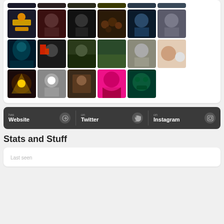[Figure (photo): Grid of thumbnail photos showing various people, scenes, and artistic images arranged in 4 rows of 6 columns (partial rows visible)]
has Website | on Twitter | on Instagram
Stats and Stuff
Last seen